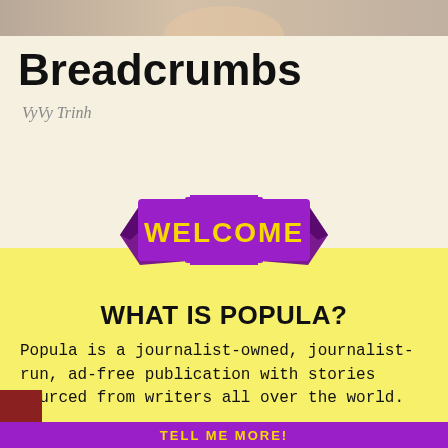[Figure (photo): Partial photo strip at the top of the page, cropped image]
Breadcrumbs
VyVy Trinh
[Figure (illustration): Purple ribbon banner with yellow bold text reading WELCOME]
WHAT IS POPULA?
Popula is a journalist-owned, journalist-run, ad-free publication with stories sourced from writers all over the world.
TELL ME MORE!